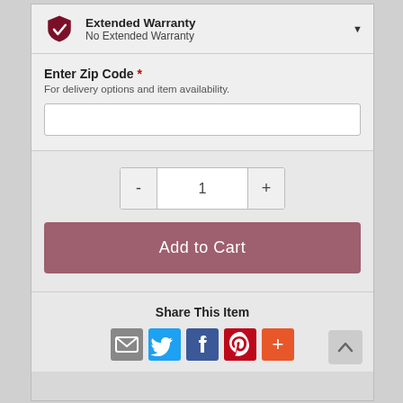[Figure (infographic): Extended Warranty dropdown selector with dark red shield/checkmark icon, title 'Extended Warranty', subtitle 'No Extended Warranty', and dropdown arrow]
Extended Warranty
No Extended Warranty
Enter Zip Code *
For delivery options and item availability.
Share This Item
[Figure (infographic): Social share icons: email (envelope), Twitter (blue bird), Facebook (blue), Pinterest (red), and a gray plus icon]
Add to Cart